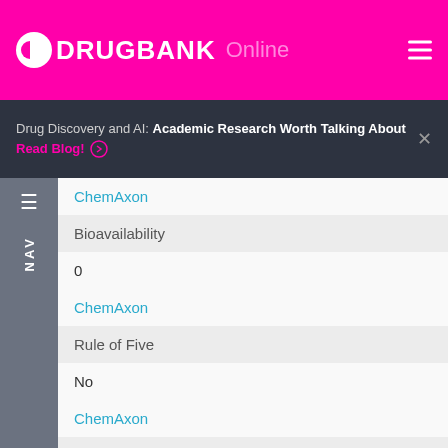DRUGBANK Online
Drug Discovery and AI: Academic Research Worth Talking About
Read Blog!
ChemAxon
Bioavailability
0
ChemAxon
Rule of Five
No
ChemAxon
Ghose Filter
No
ChemAxon
Veber's Rule